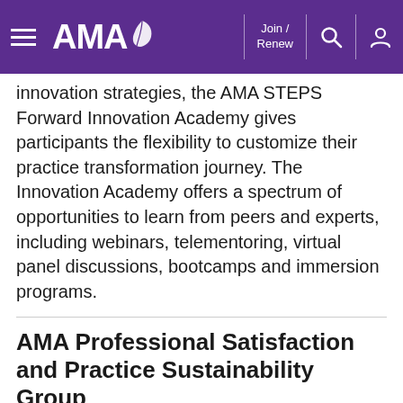AMA — Join / Renew [navigation bar]
innovation strategies, the AMA STEPS Forward Innovation Academy gives participants the flexibility to customize their practice transformation journey. The Innovation Academy offers a spectrum of opportunities to learn from peers and experts, including webinars, telementoring, virtual panel discussions, bootcamps and immersion programs.
AMA Professional Satisfaction and Practice Sustainability Group
The AMA Professional Satisfaction and Practice Sustainability group is committed to making the